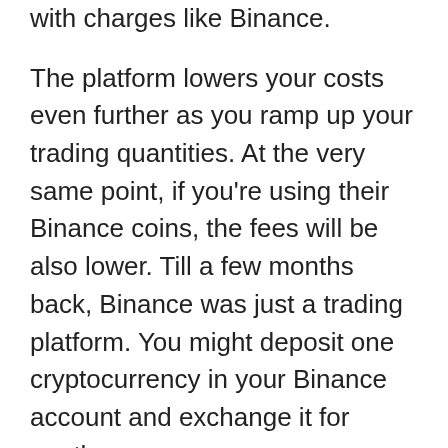with charges like Binance.
The platform lowers your costs even further as you ramp up your trading quantities. At the very same point, if you're using their Binance coins, the fees will be also lower. Till a few months back, Binance was just a trading platform. You might deposit one cryptocurrency in your Binance account and exchange it for another.
Currently it also supports purchases with credit scores cards. That is why; you can get cryptocurrencies like Bitcoin, Ethereum, Litecoin, Ripple, Bitcoin cash money through your charge card. There is no need to down payment cryptocurrency in your Binance account to buy another one. The cost is 3.5% of